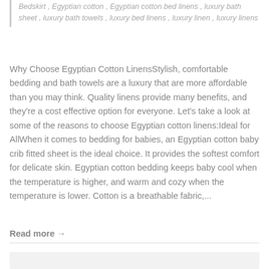Bedskirt , Egyptian cotton , Egyptian cotton bed linens , luxury bath sheet , luxury bath towels , luxury bed linens , luxury linen , luxury linens
Why Choose Egyptian Cotton LinensStylish, comfortable bedding and bath towels are a luxury that are more affordable than you may think. Quality linens provide many benefits, and they're a cost effective option for everyone. Let's take a look at some of the reasons to choose Egyptian cotton linens:Ideal for AllWhen it comes to bedding for babies, an Egyptian cotton baby crib fitted sheet is the ideal choice. It provides the softest comfort for delicate skin. Egyptian cotton bedding keeps baby cool when the temperature is higher, and warm and cozy when the temperature is lower. Cotton is a breathable fabric,...
Read more →